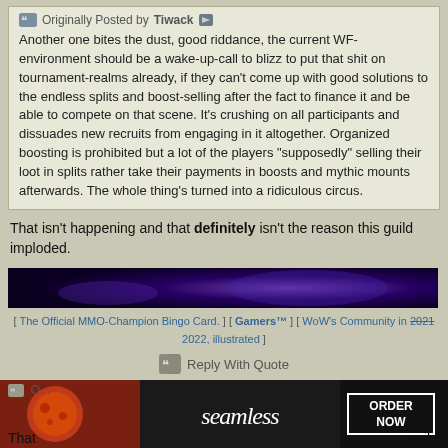Originally Posted by Tiwack
Another one bites the dust, good riddance, the current WF-environment should be a wake-up-call to blizz to put that shit on tournament-realms already, if they can't come up with good solutions to the endless splits and boost-selling after the fact to finance it and be able to compete on that scene. It's crushing on all participants and dissuades new recruits from engaging in it altogether. Organized boosting is prohibited but a lot of the players "supposedly" selling their loot in splits rather take their payments in boosts and mythic mounts afterwards. The whole thing's turned into a ridiculous circus.
That isn't happening and that definitely isn't the reason this guild imploded.
[Figure (photo): Dark purple/violet banner image used as forum signature]
[ The Official MMO-Champion Bingo Card. ] [ Gamers™ ] [ WoW's Community in 2021 2022, illustrated ]
Reply With Quote
2022-05-12, 11:33 PM #58
Tiwack  Scarab Lord
[Figure (photo): Seamless food delivery advertisement banner]